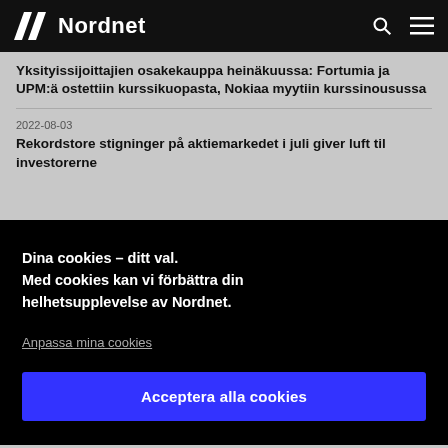Nordnet
Yksityissijoittajien osakekauppa heinäkuussa: Fortumia ja UPM:ä ostettiin kurssikuopasta, Nokiaa myytiin kurssinousussa
2022-08-03
Rekordstore stigninger på aktiemarkedet i juli giver luft til investorerne
Dina cookies – ditt val. Med cookies kan vi förbättra din helhetsupplevelse av Nordnet.
Anpassa mina cookies
Acceptera alla cookies